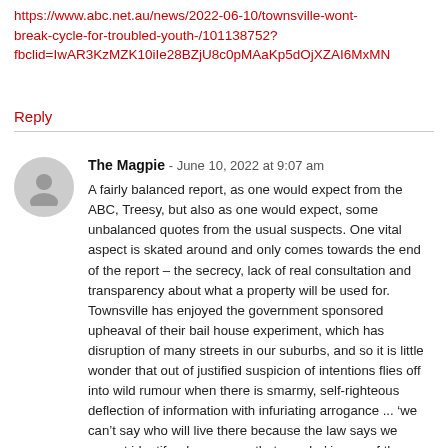https://www.abc.net.au/news/2022-06-10/townsville-wont-break-cycle-for-troubled-youth-/101138752?fbclid=IwAR3KzMZK10iIe28BZjU8c0pMAaKp5dOjXZAI6MxMN
Reply
The Magpie - June 10, 2022 at 9:07 am
A fairly balanced report, as one would expect from the ABC, Treesy, but also as one would expect, some unbalanced quotes from the usual suspects. One vital aspect is skated around and only comes towards the end of the report – the secrecy, lack of real consultation and transparency about what a property will be used for. Townsville has enjoyed the government sponsored upheaval of their bail house experiment, which has disruption of many streets in our suburbs, and so it is little wonder that out of justified suspicion of intentions flies off into wild rumour when there is smarmy, self-righteous deflection of information with infuriating arrogance ... ‘we can’t say who will live there because the law says we cannot identify whomsoever that may be’ is one of the